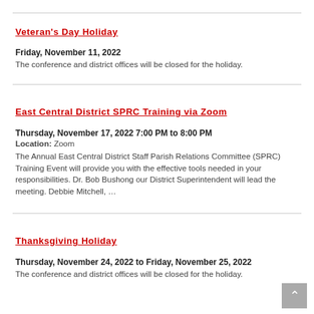Veteran's Day Holiday
Friday, November 11, 2022
The conference and district offices will be closed for the holiday.
East Central District SPRC Training via Zoom
Thursday, November 17, 2022 7:00 PM to 8:00 PM
Location: Zoom
The Annual East Central District Staff Parish Relations Committee (SPRC) Training Event will provide you with the effective tools needed in your responsibilities. Dr. Bob Bushong our District Superintendent will lead the meeting. Debbie Mitchell, …
Thanksgiving Holiday
Thursday, November 24, 2022 to Friday, November 25, 2022
The conference and district offices will be closed for the holiday.